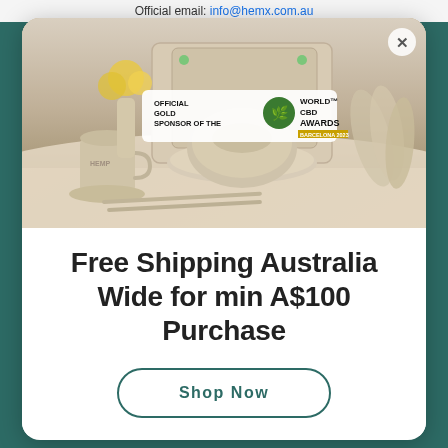Official email: info@hemx.com.au
[Figure (photo): Hemp kitchenware product photo showing beige bowls, plates, cutting boards, cups, spoons, and chopsticks arranged on a marble surface with yellow flowers. Overlay badge reads 'Official Gold Sponsor of the World CBD Awards Barcelona 2023'.]
Free Shipping Australia Wide for min A$100 Purchase
Shop Now